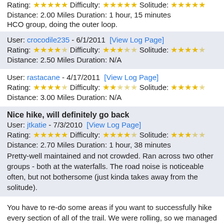Rating: ★★★★★ Difficulty: ★★★★★ Solitude: ★★★★★
Distance: 2.00 Miles Duration: 1 hour, 15 minutes
HCO group, doing the outer loop.
User: crocodile235 - 6/1/2011 [View Log Page]
Rating: ★★★★☆ Difficulty: ★★★☆☆ Solitude: ★★★★☆
Distance: 2.50 Miles Duration: N/A
User: rastacane - 4/17/2011 [View Log Page]
Rating: ★★★★☆ Difficulty: ★★☆☆☆ Solitude: ★★★★☆
Distance: 3.00 Miles Duration: N/A
Nice hike, will definitely go back
User: jtkatie - 7/3/2010 [View Log Page]
Rating: ★★★★★ Difficulty: ★★★★☆ Solitude: ★★★☆☆
Distance: 2.70 Miles Duration: 1 hour, 38 minutes
Pretty-well maintained and not crowded. Ran across two other groups - both at the waterfalls. The road noise is noticeable often, but not bothersome (just kinda takes away from the solitude).
You have to re-do some areas if you want to successfully hike every section of all of the trail. We were rolling, so we managed to hit every segment.